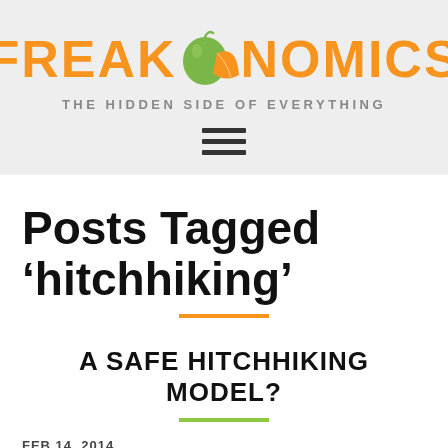FREAKONOMICS — THE HIDDEN SIDE OF EVERYTHING
Posts Tagged ‘hitchhiking’
A SAFE HITCHHIKING MODEL?
FEB 14, 2014